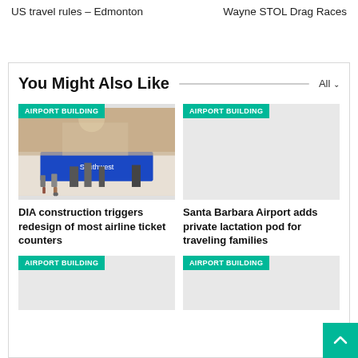US travel rules – Edmonton
Wayne STOL Drag Races
You Might Also Like
[Figure (photo): Airport interior with Southwest Airlines check-in counters and travelers with luggage]
AIRPORT BUILDING
DIA construction triggers redesign of most airline ticket counters
[Figure (photo): Placeholder image for Santa Barbara Airport article]
AIRPORT BUILDING
Santa Barbara Airport adds private lactation pod for traveling families
[Figure (photo): Placeholder image for third airport article]
AIRPORT BUILDING
[Figure (photo): Placeholder image for fourth airport article]
AIRPORT BUILDING